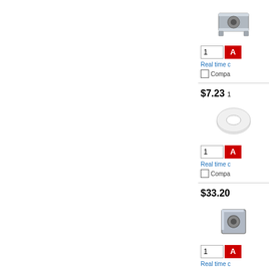[Figure (photo): Partial product listing page showing hardware fasteners with prices. Left side is blank white space. Right panel shows product rows with images of nuts/washers, prices, quantity inputs, and compare checkboxes.]
$7.23 1
Real time c
Compa
$33.20
Real time c
Compa
$33.65